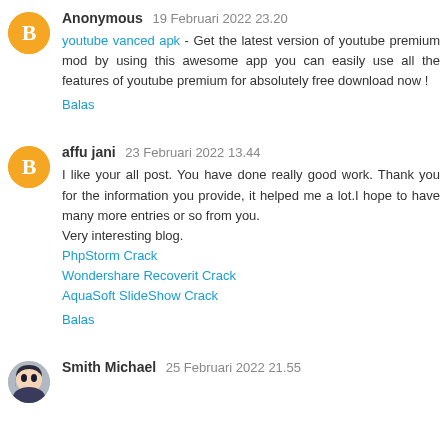[Figure (illustration): Orange circular blogger avatar icon with white B letter]
Anonymous  19 Februari 2022 23.20
youtube vanced apk - Get the latest version of youtube premium mod by using this awesome app you can easily use all the features of youtube premium for absolutely free download now !
Balas
[Figure (illustration): Orange circular blogger avatar icon with white B letter]
affu jani  23 Februari 2022 13.44
I like your all post. You have done really good work. Thank you for the information you provide, it helped me a lot.I hope to have many more entries or so from you.
Very interesting blog.
PhpStorm Crack
Wondershare Recoverit Crack
AquaSoft SlideShow Crack
Balas
[Figure (illustration): Small square avatar image of anime-style character]
Smith Michael  25 Februari 2022 21.55